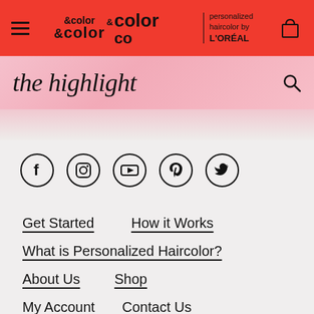& color co | personalized haircolor by L'ORÉAL
the highlight
[Figure (infographic): Social media icons in circles: Facebook, Instagram, YouTube, Pinterest, Twitter]
Get Started
How it Works
What is Personalized Haircolor?
About Us
Shop
My Account
Contact Us